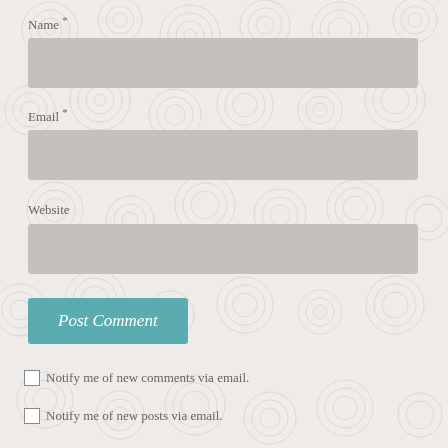Name *
[Figure (screenshot): Name input field (gray rectangle)]
Email *
[Figure (screenshot): Email input field (gray rectangle)]
Website
[Figure (screenshot): Website input field (gray rectangle)]
[Figure (screenshot): Post Comment button (teal/blue-green button with italic text)]
Notify me of new comments via email.
Notify me of new posts via email.